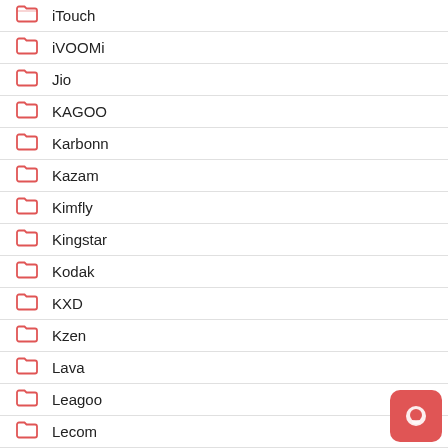iTouch
iVOOMi
Jio
KAGOO
Karbonn
Kazam
Kimfly
Kingstar
Kodak
KXD
Kzen
Lava
Leagoo
Lecom
Lemon